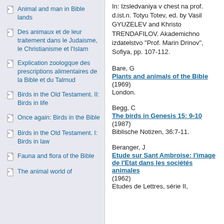Animal and man in Bible lands
Des animaux et de leur traitement dans le Judaisme, le Christianisme et l'Islam
Explication zoologque des prescriptions alimentaires de la Bible et du Talmud
Birds in the Old Testament. II: Birds in life
Once again: Birds in the Bible
Birds in the Old Testament. I: Birds in law
Fauna and flora of the Bible
The animal world of
In: Izsledvaniya v chest na prof. d.ist.n. Totyu Totev, ed. by Vasil GYUZELEV and Khristo TRENDAFILOV. Akademichno izdatelstvo "Prof. Marin Drinov", Sofiya, pp. 107-112.
Bare, G
Plants and animals of the Bible
(1969)
London.
Begg, C
The birds in Genesis 15: 9-10
(1987)
Biblische Notizen, 36:7-11.
Beranger, J
Etude sur Sant Ambroise: l'image de l'Etat dans les sociétés animales
(1962)
Etudes de Lettres, série II,